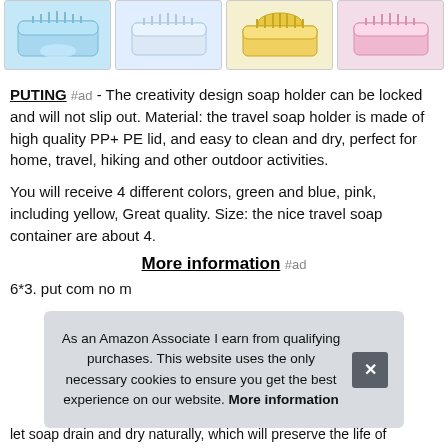[Figure (photo): Four thumbnail product images of soap holders in different colors: blue, white/clear, yellow, and pink]
PUTING #ad - The creativity design soap holder can be locked and will not slip out. Material: the travel soap holder is made of high quality PP+ PE lid, and easy to clean and dry, perfect for home, travel, hiking and other outdoor activities.
You will receive 4 different colors, green and blue, pink, including yellow, Great quality. Size: the nice travel soap container are about 4.
More information #ad
6*3. put com no m
let soap drain and dry naturally, which will preserve the life of
As an Amazon Associate I earn from qualifying purchases. This website uses the only necessary cookies to ensure you get the best experience on our website. More information